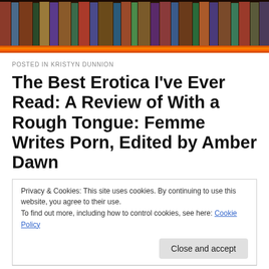[Figure (photo): Header image showing a bookshelf with many colorful book spines, with an orange/red gradient bar at the bottom]
POSTED IN KRISTYN DUNNION
The Best Erotica I've Ever Read: A Review of With a Rough Tongue: Femme Writes Porn, Edited by Amber Dawn
Privacy & Cookies: This site uses cookies. By continuing to use this website, you agree to their use.
To find out more, including how to control cookies, see here: Cookie Policy
Close and accept